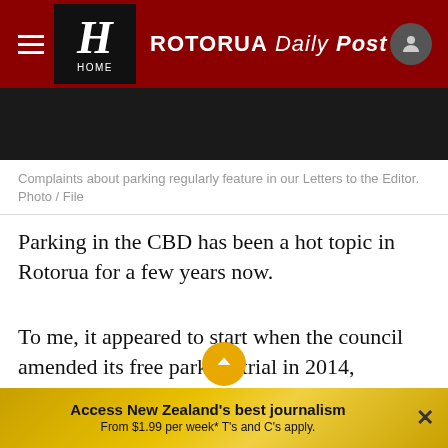ROTORUA Daily Post
[Figure (photo): Dark banner placeholder image area]
Complaints about parking regularly feature in our Letters to the Editor. Photo / File
Parking in the CBD has been a hot topic in Rotorua for a few years now.
To me, it appeared to start when the council amended its free parking trial in 2014, replacing the many two-hour free parks with an array of 60 and 90-minute free parking
Access New Zealand's best journalism From $1.99 per week* T's and C's apply.